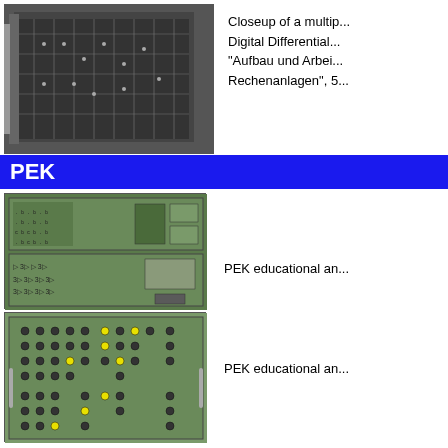[Figure (photo): Closeup of a multiplier board for a Digital Differential Analyzer, showing dense electronic components]
Closeup of a multip... Digital Differential... "Aufbau und Arbei... Rechenanlagen", 5...
PEK
[Figure (photo): PEK educational analog computer board with green circuit boards showing logic components]
PEK educational an...
[Figure (photo): PEK educational analog computer patch panel with rows of connection points]
PEK educational an...